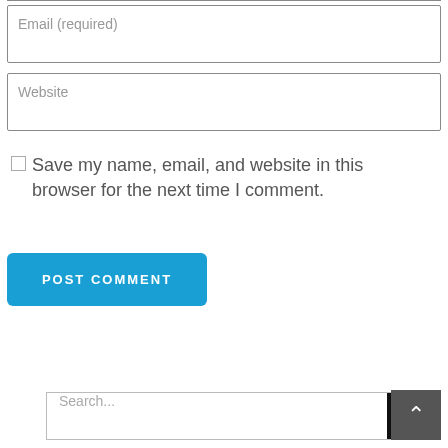Email (required)
Website
Save my name, email, and website in this browser for the next time I comment.
POST COMMENT
Search...